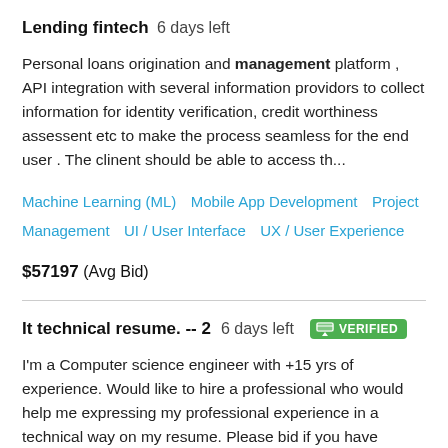Lending fintech  6 days left
Personal loans origination and management platform , API integration with several information providors to collect information for identity verification, credit worthiness assessent etc to make the process seamless for the end user . The clinent should be able to access th...
Machine Learning (ML)   Mobile App Development   Project Management   UI / User Interface   UX / User Experience
$57197  (Avg Bid)
It technical resume. -- 2  6 days left  VERIFIED
I'm a Computer science engineer with +15 yrs of experience. Would like to hire a professional who would help me expressing my professional experience in a technical way on my resume. Please bid if you have technology knowledge (network, it, lan, project...